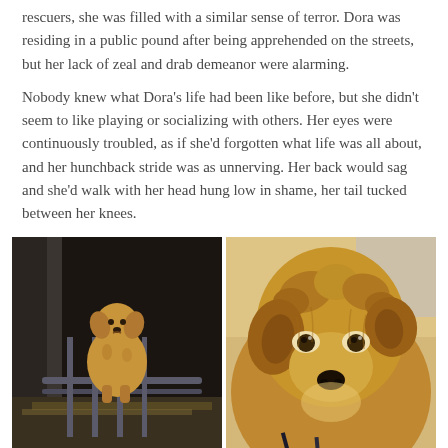rescuers, she was filled with a similar sense of terror. Dora was residing in a public pound after being apprehended on the streets, but her lack of zeal and drab demeanor were alarming.
Nobody knew what Dora's life had been like before, but she didn't seem to like playing or socializing with others. Her eyes were continuously troubled, as if she'd forgotten what life was all about, and her hunchback stride was as unnerving. Her back would sag and she'd walk with her head hung low in shame, her tail tucked between her knees.
[Figure (photo): Two side-by-side photos of a dog named Dora. Left photo: a golden/tan dog standing in a dark barn or pound enclosure behind metal bars, looking sad and dejected. Right photo: close-up of the same dog's face with shaggy golden-brown fur, wearing a leash, with sad expressive eyes.]